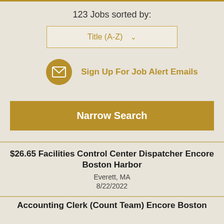123 Jobs sorted by:
Title (A-Z)
Sign Up For Job Alert Emails
Narrow Search
$26.65 Facilities Control Center Dispatcher Encore Boston Harbor
Everett, MA
8/22/2022
Accounting Clerk (Count Team) Encore Boston